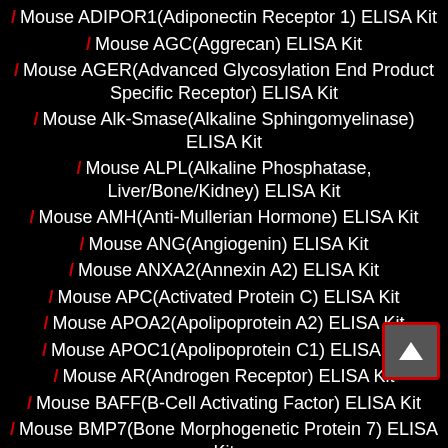/ Mouse ADIPOR1(Adiponectin Receptor 1) ELISA Kit
/ Mouse AGC(Aggrecan) ELISA Kit
/ Mouse AGER(Advanced Glycosylation End Product Specific Receptor) ELISA Kit
/ Mouse Alk-Smase(Alkaline Sphingomyelinase) ELISA Kit
/ Mouse ALPL(Alkaline Phosphatase, Liver/Bone/Kidney) ELISA Kit
/ Mouse AMH(Anti-Mullerian Hormone) ELISA Kit
/ Mouse ANG(Angiogenin) ELISA Kit
/ Mouse ANXA2(Annexin A2) ELISA Kit
/ Mouse APC(Activated Protein C) ELISA Kit
/ Mouse APOA2(Apolipoprotein A2) ELISA Kit
/ Mouse APOC1(Apolipoprotein C1) ELISA Kit
/ Mouse AR(Androgen Receptor) ELISA Kit
/ Mouse BAFF(B-Cell Activating Factor) ELISA Kit
/ Mouse BMP7(Bone Morphogenetic Protein 7) ELISA Kit